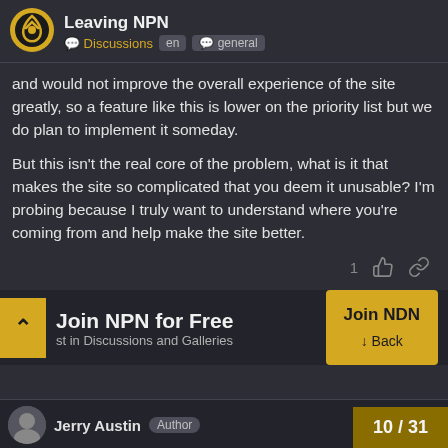Leaving NPN | Discussions | en | general
and would not improve the overall experience of the site greatly, so a feature like this is lower on the priority list but we do plan to implement it someday.
But this isn't the real core of the problem, what is it that makes the site so complicated that you deem it unusable? I'm probing because I truly want to understand where you're coming from and help make the site better.
[Figure (screenshot): Join NPN for Free banner with upvote arrow button on the left, text 'Join NPN for Free / st in Discussions and Galleries', and a yellow 'Join NDN / Back' button on the right]
Jerry Austin  Author  10/31